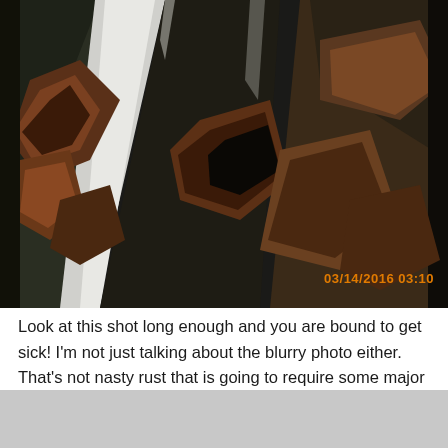[Figure (photo): Close-up photograph of severe rust damage on a vehicle, showing holes and corrosion on metal body panels. Photo timestamp reads 03/14/2016 03:10 in orange text.]
Look at this shot long enough and you are bound to get sick! I'm not just talking about the blurry photo either. That's not nasty rust that is going to require some major reconstructive surgery. At least the seller is forthcoming with this information and mentions all the rust repair needs in their listing.